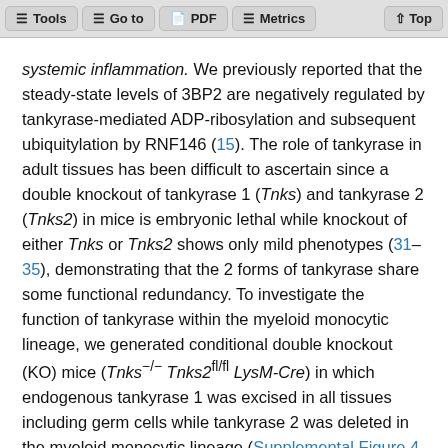Tools | Go to | PDF | Metrics | Top
systemic inflammation. We previously reported that the steady-state levels of 3BP2 are negatively regulated by tankyrase-mediated ADP-ribosylation and subsequent ubiquitylation by RNF146 (15). The role of tankyrase in adult tissues has been difficult to ascertain since a double knockout of tankyrase 1 (Tnks) and tankyrase 2 (Tnks2) in mice is embryonic lethal while knockout of either Tnks or Tnks2 shows only mild phenotypes (31–35), demonstrating that the 2 forms of tankyrase share some functional redundancy. To investigate the function of tankyrase within the myeloid monocytic lineage, we generated conditional double knockout (KO) mice (Tnks−/− Tnks2fl/fl LysM-Cre) in which endogenous tankyrase 1 was excised in all tissues including germ cells while tankyrase 2 was deleted in the myeloid monocytic lineage (Supplemental Figure 4, A–C). We